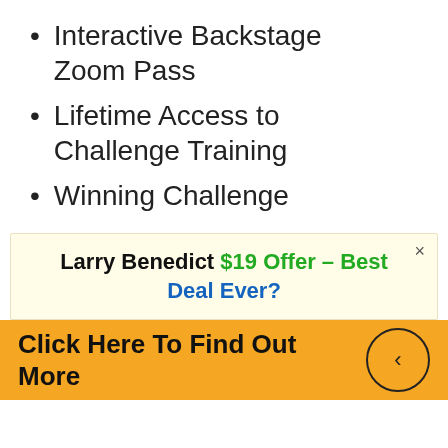Interactive Backstage Zoom Pass
Lifetime Access to Challenge Training
Winning Challenge
Larry Benedict $19 Offer – Best Deal Ever?
Click Here To Find Out More